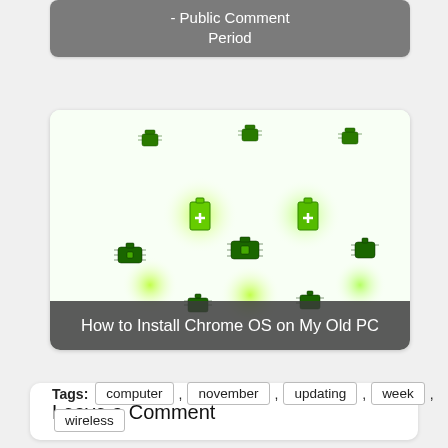[Figure (screenshot): Partially visible card with gray overlay label reading '- Public Comment Period']
[Figure (illustration): Card showing an illustrated image of green glowing robot/bug figures on a white background, with a dark gray overlay title 'How to Install Chrome OS on My Old PC']
Tags: computer , november , updating , week , wireless
Leave a Comment